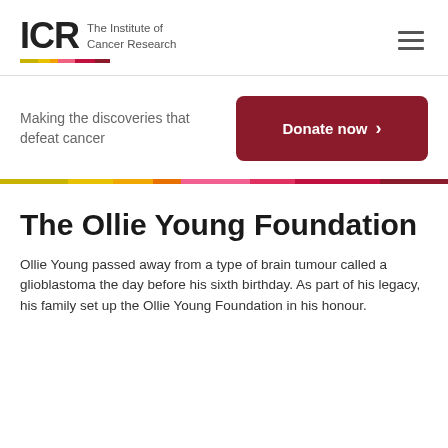[Figure (logo): ICR - The Institute of Cancer Research logo with coloured bar beneath]
Making the discoveries that defeat cancer
[Figure (other): Donate now button (dark red/crimson rounded rectangle with chevron)]
The Ollie Young Foundation
Ollie Young passed away from a type of brain tumour called a glioblastoma the day before his sixth birthday. As part of his legacy, his family set up the Ollie Young Foundation in his honour.